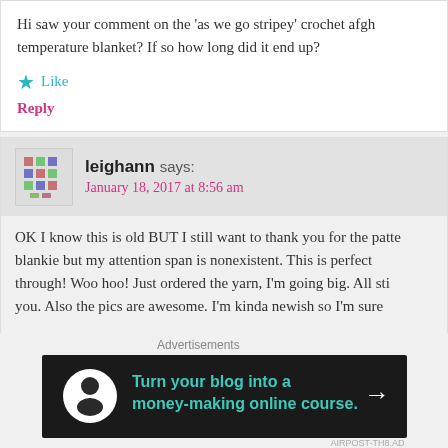Hi saw your comment on the ‘as we go stripey’ crochet afgh... temperature blanket? If so how long did it end up?
★ Like
Reply
leighann says:
January 18, 2017 at 8:56 am
OK I know this is old BUT I still want to thank you for the patte... blankie but my attention span is nonexistent. This is perfect... through! Woo hoo! Just ordered the yarn, I'm going big. All sti... you. Also the pics are awesome. I’m kinda newish so I’m sure...
★ Like
Reply
[Figure (other): Close/dismiss button (circled X icon)]
Advertisements
[Figure (infographic): Advertisement banner: dark background with white circle icon of a person, teal text reading 'Turn your blog into a money-making online course.' with a white arrow pointing right.]